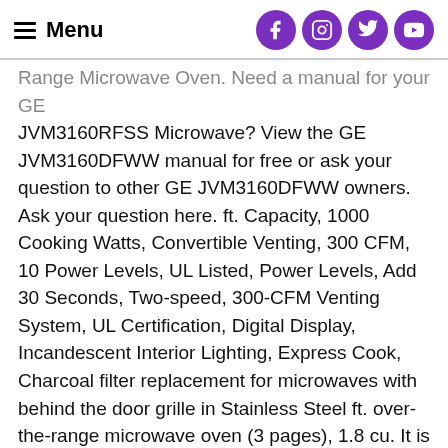Menu
Range Microwave Oven. Need a manual for your GE JVM3160RFSS Microwave? View the GE JVM3160DFWW manual for free or ask your question to other GE JVM3160DFWW owners. Ask your question here. ft. Capacity, 1000 Cooking Watts, Convertible Venting, 300 CFM, 10 Power Levels, UL Listed, Power Levels, Add 30 Seconds, Two-speed, 300-CFM Venting System, UL Certification, Digital Display, Incandescent Interior Lighting, Express Cook, Charcoal filter replacement for microwaves with behind the door grille in Stainless Steel ft. over-the-range microwave oven (3 pages), 1.8 cu. It is not wise to put peeled food in the microwave. No additional wiring, venting or cabinet rebuilding necessary, in many cases. The heat cannot escape through the skin, causing the food to explode. Complete detailed, easy-to-follow installation, instructions and convenient full-size templates are